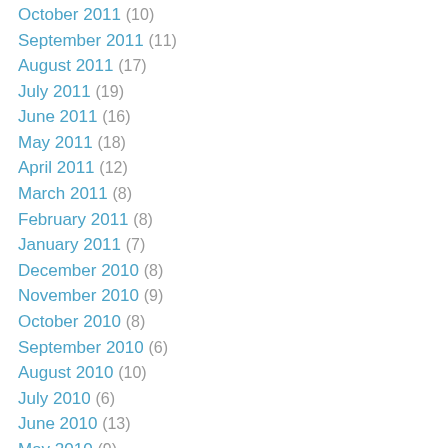October 2011 (10)
September 2011 (11)
August 2011 (17)
July 2011 (19)
June 2011 (16)
May 2011 (18)
April 2011 (12)
March 2011 (8)
February 2011 (8)
January 2011 (7)
December 2010 (8)
November 2010 (9)
October 2010 (8)
September 2010 (6)
August 2010 (10)
July 2010 (6)
June 2010 (13)
May 2010 (9)
April 2010 (7)
March 2010 (8)